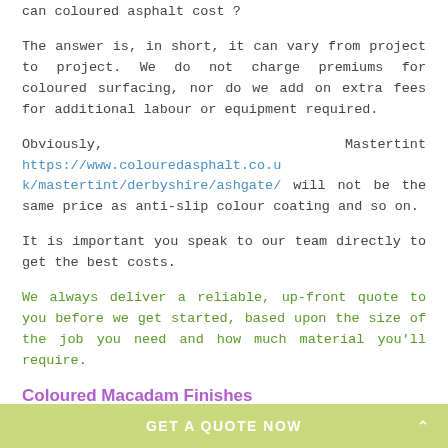can coloured asphalt cost ?
The answer is, in short, it can vary from project to project. We do not charge premiums for coloured surfacing, nor do we add on extra fees for additional labour or equipment required.
Obviously, Mastertint https://www.colouredasphalt.co.uk/mastertint/derbyshire/ashgate/ will not be the same price as anti-slip colour coating and so on.
It is important you speak to our team directly to get the best costs.
We always deliver a reliable, up-front quote to you before we get started, based upon the size of the job you need and how much material you'll require.
Coloured Macadam Finishes
Coloured macadam finishes are a great way to really
GET A QUOTE NOW